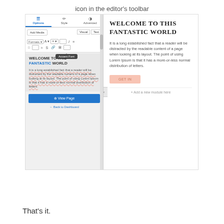icon in the editor's toolbar
[Figure (screenshot): Screenshot of a WordPress/page builder editor showing a sidebar with Options/Style/Advanced tabs, editor toolbar with Add Media button, Visual/Text tabs, formatting buttons, a tooltip saying 'Accent Font', and content preview showing 'WELCOME TO THIS FANTASTIC WORLD' heading with lorem ipsum text. Right side shows the rendered page preview with the same heading in a serif font, lorem ipsum body text, a salmon/pink GET IN button, and an Add a new module here link.]
That's it.